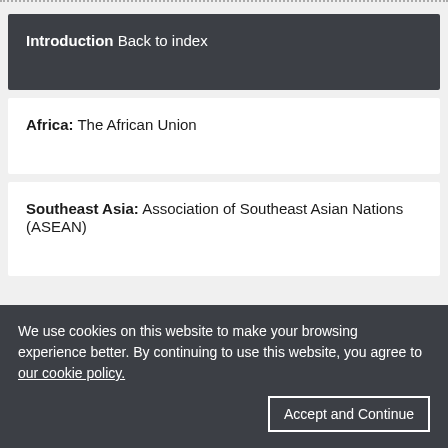Introduction Back to index
Africa: The African Union
Southeast Asia: Association of Southeast Asian Nations (ASEAN)
We use cookies on this website to make your browsing experience better. By continuing to use this website, you agree to our cookie policy.
Accept and Continue